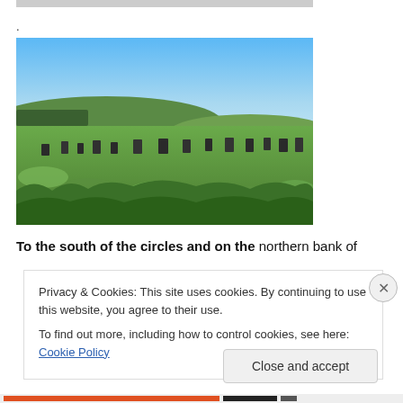[Figure (photo): Photograph of a landscape with standing stones arranged in a field of green grass, under a blue sky with rolling hills and a tree line in the background.]
To the south of the circles and on the northern bank of
Privacy & Cookies: This site uses cookies. By continuing to use this website, you agree to their use.
To find out more, including how to control cookies, see here: Cookie Policy
Close and accept